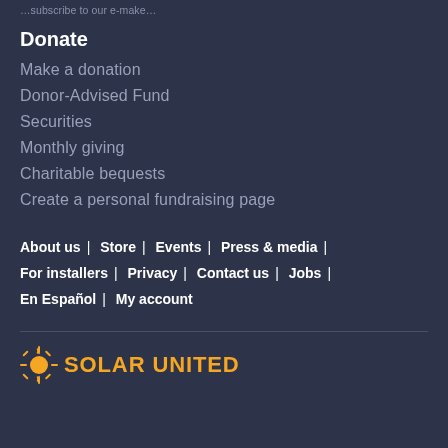…subscribe to our e-make…
Donate
Make a donation
Donor-Advised Fund
Securities
Monthly giving
Charitable bequests
Create a personal fundraising page
About us | Store | Events | Press & media | For installers | Privacy | Contact us | Jobs | En Español | My account
[Figure (logo): Solar United Neighbors logo with sun burst icon and yellow text]